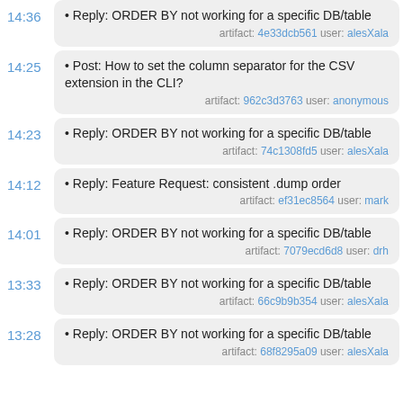14:36 • Reply: ORDER BY not working for a specific DB/table artifact: 4e33dcb561 user: alesXala
14:25 • Post: How to set the column separator for the CSV extension in the CLI? artifact: 962c3d3763 user: anonymous
14:23 • Reply: ORDER BY not working for a specific DB/table artifact: 74c1308fd5 user: alesXala
14:12 • Reply: Feature Request: consistent .dump order artifact: ef31ec8564 user: mark
14:01 • Reply: ORDER BY not working for a specific DB/table artifact: 7079ecd6d8 user: drh
13:33 • Reply: ORDER BY not working for a specific DB/table artifact: 66c9b9b354 user: alesXala
13:28 • Reply: ORDER BY not working for a specific DB/table artifact: 68f8295a09 user: alesXala